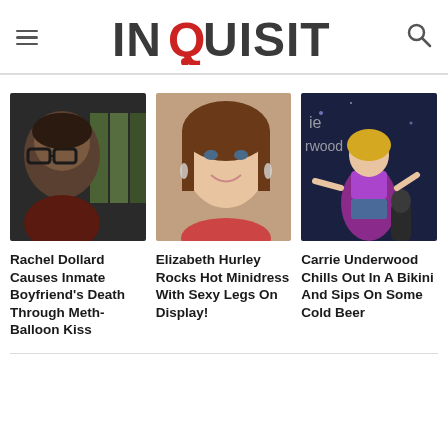INQUISITR
[Figure (photo): Portrait photo of Rachel Dollard, a woman wearing glasses, dark background]
Rachel Dollard Causes Inmate Boyfriend's Death Through Meth-Balloon Kiss
[Figure (photo): Portrait photo of Elizabeth Hurley, smiling woman with brown hair and dangling earrings]
Elizabeth Hurley Rocks Hot Minidress With Sexy Legs On Display!
[Figure (photo): Photo of Carrie Underwood performing on stage in purple outfit]
Carrie Underwood Chills Out In A Bikini And Sips On Some Cold Beer